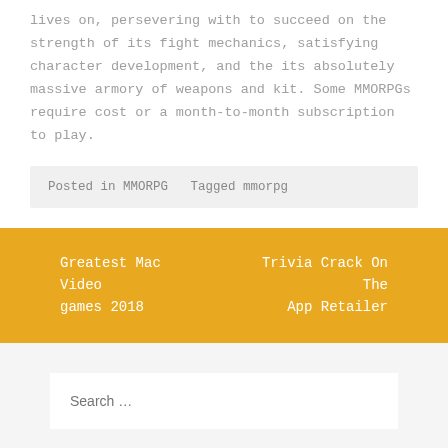lives on, persevering with to succeed on the strength of its fight mechanics, satisfying character development, and the its absolutely massive armory of weapons and kit. Some MMORPGs require cost or a month-to-month subscription to play.
Posted in MMORPG   Tagged mmorpg
Greatest Mac Video games 2018
Trivia Crack On The App Retailer
Search …